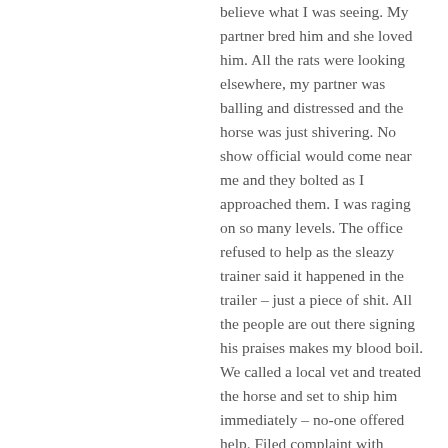believe what I was seeing. My partner bred him and she loved him. All the rats were looking elsewhere, my partner was balling and distressed and the horse was just shivering. No show official would come near me and they bolted as I approached them. I was raging on so many levels. The office refused to help as the sleazy trainer said it happened in the trailer – just a piece of shit. All the people are out there signing his praises makes my blood boil. We called a local vet and treated the horse and set to ship him immediately – no-one offered help. Filed complaint with NRHA and silence. Call and after call amd some less than helpful person Megan said that the